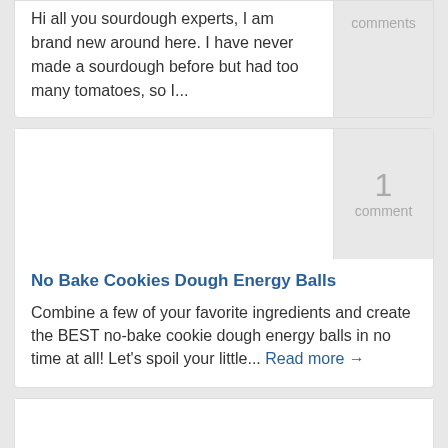Hi all you sourdough experts, I am brand new around here. I have never made a sourdough before but had too many tomatoes, so I...
comments
[Figure (photo): Image placeholder for No Bake Cookies Dough Energy Balls post]
1 comment
No Bake Cookies Dough Energy Balls
Combine a few of your favorite ingredients and create the BEST no-bake cookie dough energy balls in no time at all! Let's spoil your little... Read more →